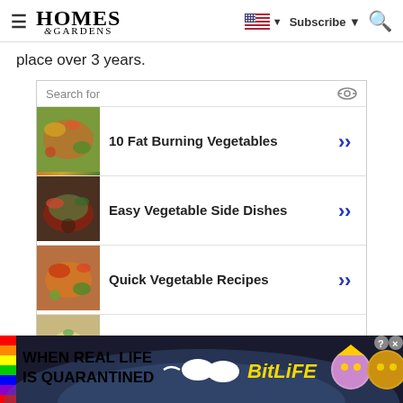Homes & Gardens — Subscribe
place over 3 years.
[Figure (screenshot): Sponsored search ad widget with four vegetable-related search result links: '10 Fat Burning Vegetables', 'Easy Vegetable Side Dishes', 'Quick Vegetable Recipes', 'Old Fashioned Vegetable Soup'. Each row has a food photo thumbnail, bold text label, and a blue chevron arrow. Footer reads 'Ad | Glocal Search'.]
[Figure (screenshot): BitLife app advertisement banner with rainbow stripe on left, text 'WHEN REAL LIFE IS QUARANTINED', sperm emoji graphic, BitLife logo in yellow, and cartoon mask/star characters on right. Dark background with close and question mark buttons.]